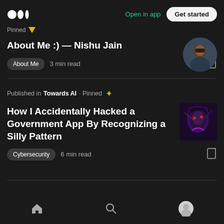Medium logo | Open in app | Get started
Pinned
About Me :) — Nishu Jain
About Me  3 min read
Published in Towards AI · Pinned
How I Accidentally Hacked a Government App By Recognizing a Silly Pattern
Cybersecurity  6 min read